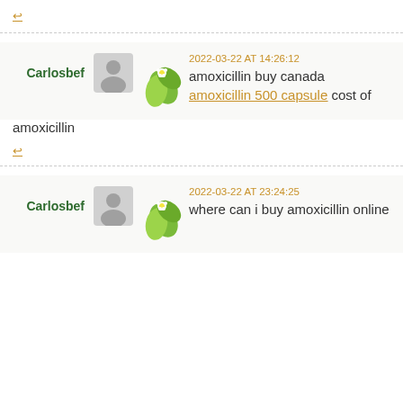↩︎
2022-03-22 AT 14:26:12
amoxicillin buy canada amoxicillin 500 capsule cost of amoxicillin
↩︎
2022-03-22 AT 23:24:25
where can i buy amoxicillin online